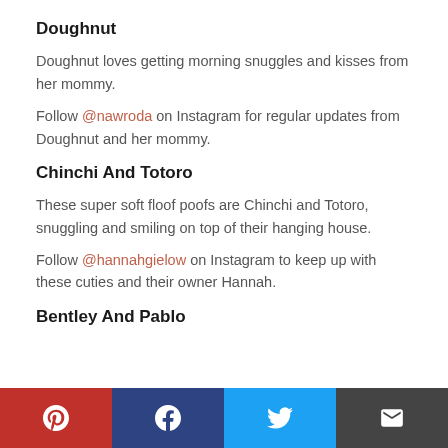Doughnut
Doughnut loves getting morning snuggles and kisses from her mommy.
Follow @nawroda on Instagram for regular updates from Doughnut and her mommy.
Chinchi And Totoro
These super soft floof poofs are Chinchi and Totoro, snuggling and smiling on top of their hanging house.
Follow @hannahgielow on Instagram to keep up with these cuties and their owner Hannah.
Bentley And Pablo
[Figure (infographic): Social share bar with four buttons: Pinterest (red), Facebook (dark blue), Twitter (light blue), Email (dark grey), each with white icon.]